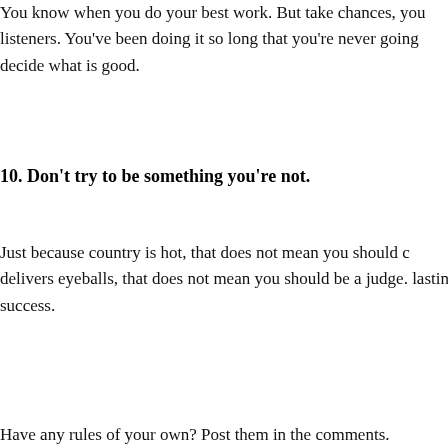You know when you do your best work. But take chances, you listeners. You've been doing it so long that you're never going decide what is good.
10. Don't try to be something you're not.
Just because country is hot, that does not mean you should c delivers eyeballs, that does not mean you should be a judge. lasting success.
Have any rules of your own? Post them in the comments.
Posted in Latest News
8 Comments
Blee
Posted July 28, 2015 at 10:28 pm | Permalink
Nice set of commandments for artists. Numbers 3 and 9 resona